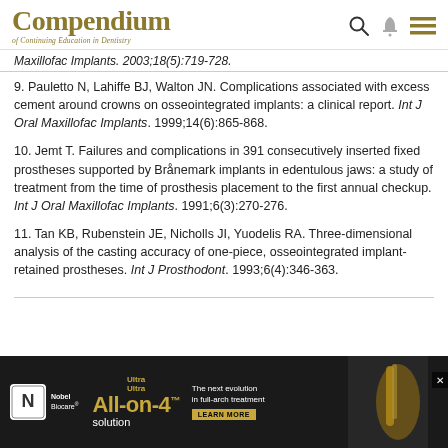Compendium of Continuing Education in Dentistry
Maxillofac Implants. 2003;18(5):719-728.
9. Pauletto N, Lahiffe BJ, Walton JN. Complications associated with excess cement around crowns on osseointegrated implants: a clinical report. Int J Oral Maxillofac Implants. 1999;14(6):865-868.
10. Jemt T. Failures and complications in 391 consecutively inserted fixed prostheses supported by Brånemark implants in edentulous jaws: a study of treatment from the time of prosthesis placement to the first annual checkup. Int J Oral Maxillofac Implants. 1991;6(3):270-276.
11. Tan KB, Rubenstein JE, Nicholls JI, Yuodelis RA. Three-dimensional analysis of the casting accuracy of one-piece, osseointegrated implant-retained prostheses. Int J Prosthodont. 1993;6(4):346-363.
[Figure (photo): Nobel Biocare advertisement banner for Ultra All-on-4 solution implant treatment]